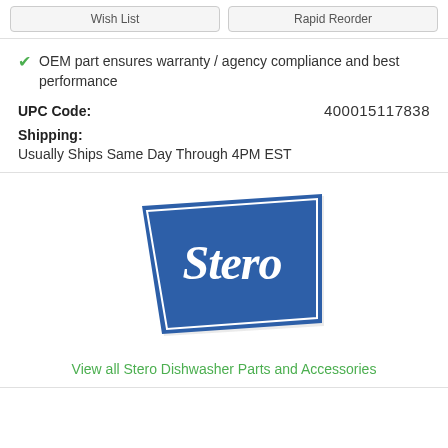OEM part ensures warranty / agency compliance and best performance
UPC Code: 400015117838
Shipping: Usually Ships Same Day Through 4PM EST
[Figure (logo): Stero brand logo — blue pennant/banner shape with white cursive 'Stero' text]
View all Stero Dishwasher Parts and Accessories